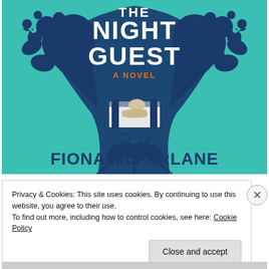[Figure (illustration): Book cover of 'The Night Guest: A Novel' by Fiona McFarlane. Teal/turquoise background with dark navy blue illustrated artwork featuring a large tree with decorative folk-art style birds, flowers, and foliage. In the center is a person sleeping in a bed. Bold white and navy text reads 'THE NIGHT GUEST' at top, 'A NOVEL' in orange below, and 'FIONA McFARLANE' in large navy letters at the bottom.]
Privacy & Cookies: This site uses cookies. By continuing to use this website, you agree to their use.
To find out more, including how to control cookies, see here: Cookie Policy